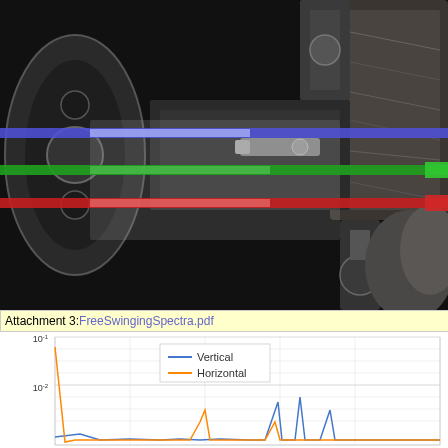[Figure (photo): Industrial machinery (turbine/rotor) photograph with three horizontal colored lines overlaid: blue line near top-center, green line in middle, red line below middle, against a dark metallic background.]
Attachment 3: FreeSwingingSpectra.pdf
[Figure (line-chart): Log-scale line chart showing Vertical (blue) and Horizontal (orange) spectra. Y-axis ranges from approximately 10^-2 to 10^-1. Vertical axis visible at top of cropped view.]